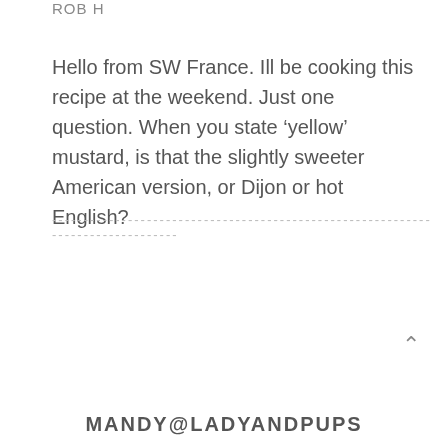ROB H
Hello from SW France. Ill be cooking this recipe at the weekend. Just one question. When you state ‘yellow’ mustard, is that the slightly sweeter American version, or Dijon or hot English?
--------------------------------------------------------------------------------
∧
MANDY@LADYANDPUPS